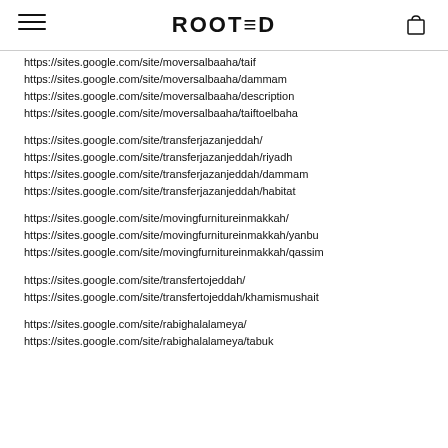ROOTED
https://sites.google.com/site/moversalbaaha/taif
https://sites.google.com/site/moversalbaaha/dammam
https://sites.google.com/site/moversalbaaha/description
https://sites.google.com/site/moversalbaaha/taiftoelbaha
https://sites.google.com/site/transferjazanjeddah/
https://sites.google.com/site/transferjazanjeddah/riyadh
https://sites.google.com/site/transferjazanjeddah/dammam
https://sites.google.com/site/transferjazanjeddah/habitat
https://sites.google.com/site/movingfurnitureinmakkah/
https://sites.google.com/site/movingfurnitureinmakkah/yanbu
https://sites.google.com/site/movingfurnitureinmakkah/qassim
https://sites.google.com/site/transfertojeddah/
https://sites.google.com/site/transfertojeddah/khamismushait
https://sites.google.com/site/rabighalalameya/
https://sites.google.com/site/rabighalalameya/tabuk